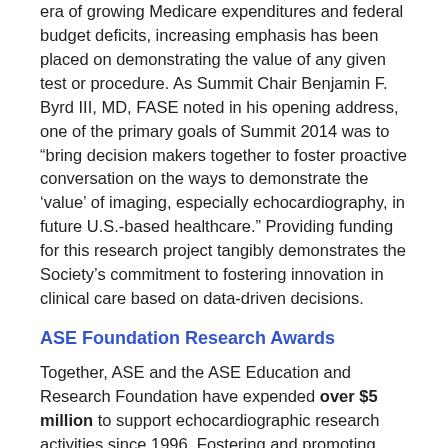era of growing Medicare expenditures and federal budget deficits, increasing emphasis has been placed on demonstrating the value of any given test or procedure. As Summit Chair Benjamin F. Byrd III, MD, FASE noted in his opening address, one of the primary goals of Summit 2014 was to “bring decision makers together to foster proactive conversation on the ways to demonstrate the ‘value’ of imaging, especially echocardiography, in future U.S.-based healthcare.” Providing funding for this research project tangibly demonstrates the Society’s commitment to fostering innovation in clinical care based on data-driven decisions.
ASE Foundation Research Awards
Together, ASE and the ASE Education and Research Foundation have expended over $5 million to support echocardiographic research activities since 1996. Fostering and promoting research on advances in cardiovascular ultrasound continues to remain one of the Society’s fundamental goals moving forward.